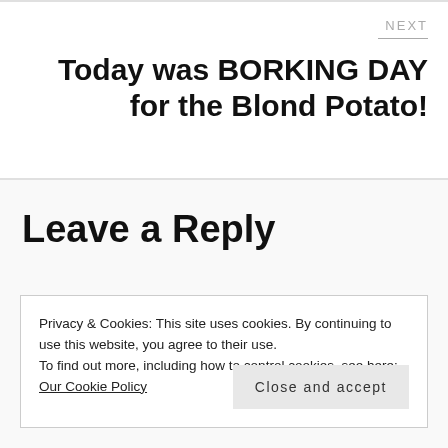NEXT
Today was BORKING DAY for the Blond Potato!
Leave a Reply
Privacy & Cookies: This site uses cookies. By continuing to use this website, you agree to their use.
To find out more, including how to control cookies, see here: Our Cookie Policy
Close and accept